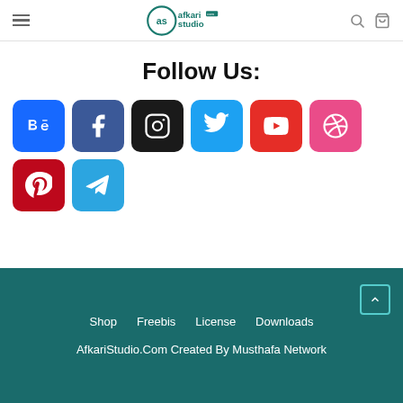Afkari Studio — navigation header with hamburger menu, logo, search, and cart icons
Follow Us:
[Figure (infographic): Social media icon buttons: Behance (blue), Facebook (dark blue), Instagram (black), Twitter (light blue), YouTube (red), Dribbble (pink), Pinterest (dark red), Telegram (light blue)]
Shop  Freebis  License  Downloads
AfkariStudio.Com Created By Musthafa Network